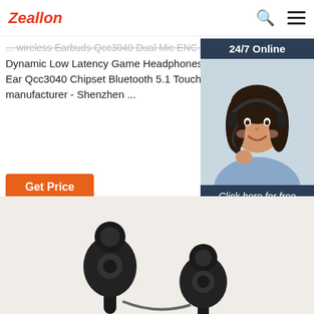Zeallon
... Wireless Earbuds Qcc3040 Dual Mic ENC Noise Reduction Dynamic Low Latency Game Headphones 24h Battery Life for Mobile, Haylou T33 True Wireless Headphones Semi in-Ear Qcc3040 Chipset Bluetooth 5.1 Touch Control Typ... 24 Hours Playtime for Gaming on Android Ios pro... manufacturer - Shenzhen ...
Get Price
[Figure (photo): Customer support representative woman with headset smiling, with '24/7 Online' header and 'Click here for free chat! QUOTATION' button overlay]
[Figure (photo): True wireless earbuds (black) product image shown from above on a light beige background]